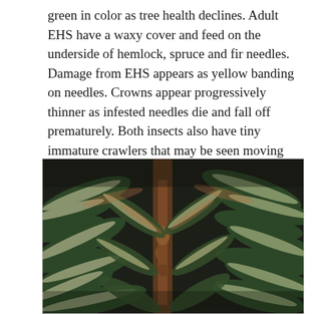green in color as tree health declines. Adult EHS have a waxy cover and feed on the underside of hemlock, spruce and fir needles. Damage from EHS appears as yellow banding on needles. Crowns appear progressively thinner as infested needles die and fall off prematurely. Both insects also have tiny immature crawlers that may be seen moving on infested trees.
[Figure (photo): Close-up photograph of evergreen tree branches (likely hemlock or fir) showing needles with yellow-white banding and browning, indicating EHS infestation damage. Branches spread across the frame against a dark background.]